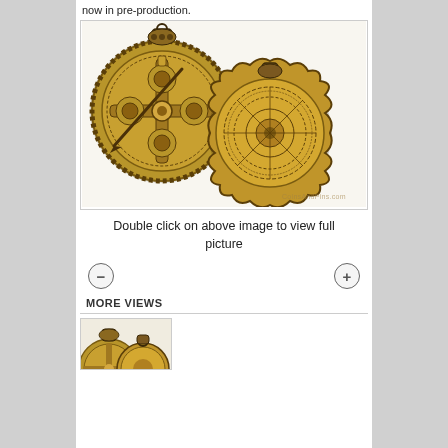now in pre-production.
[Figure (photo): Two brass/gold astrolabe medallions shown front and back, with intricate engraved astronomical and decorative patterns. Watermark reads CoinsAndPins.com]
Double click on above image to view full picture
MORE VIEWS
[Figure (photo): Small thumbnail image of the astrolabe medallions, partially visible at bottom of page]